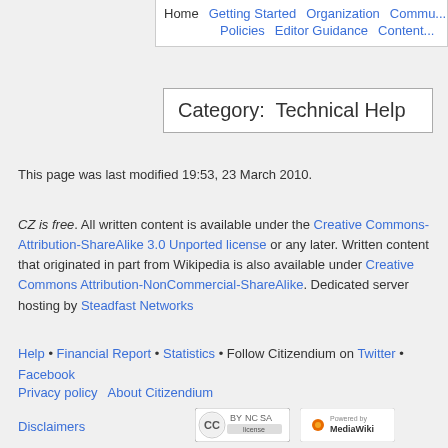Home | Getting Started | Organization | Commu... | Policies | Editor Guidance | Content...
Category:  Technical Help
This page was last modified 19:53, 23 March 2010.
CZ is free. All written content is available under the Creative Commons-Attribution-ShareAlike 3.0 Unported license or any later. Written content that originated in part from Wikipedia is also available under Creative Commons Attribution-NonCommercial-ShareAlike. Dedicated server hosting by Steadfast Networks
Help • Financial Report • Statistics • Follow Citizendium on Twitter • Facebook
Privacy policy   About Citizendium
Disclaimers